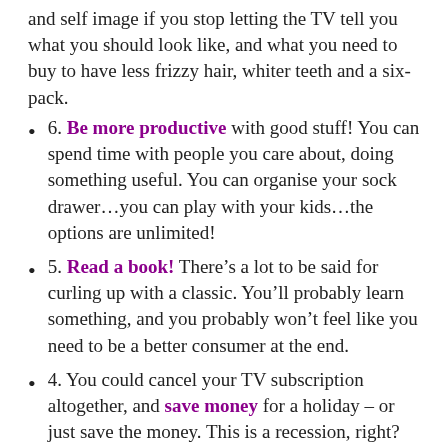and self image if you stop letting the TV tell you what you should look like, and what you need to buy to have less frizzy hair, whiter teeth and a six-pack.
6. Be more productive with good stuff! You can spend time with people you care about, doing something useful. You can organise your sock drawer…you can play with your kids…the options are unlimited!
5. Read a book! There’s a lot to be said for curling up with a classic. You’ll probably learn something, and you probably won’t feel like you need to be a better consumer at the end.
4. You could cancel your TV subscription altogether, and save money for a holiday – or just save the money. This is a recession, right?
3. You can get outside more. Yeah baby! Start living and stop watching other people live for you!